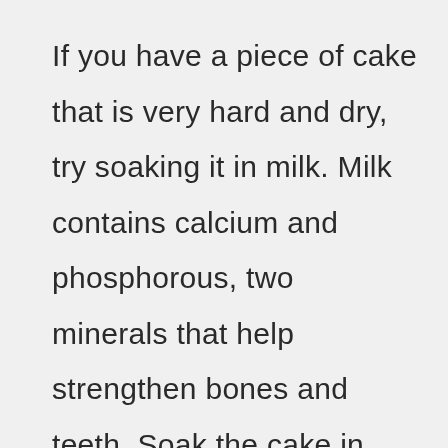If you have a piece of cake that is very hard and dry, try soaking it in milk. Milk contains calcium and phosphorous, two minerals that help strengthen bones and teeth. Soak the cake in milk overnight. In the morning, drain off the milk and rinse the cake under cold running